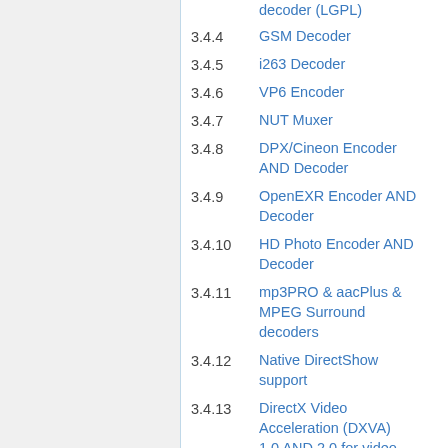decoder (LGPL)
3.4.4  GSM Decoder
3.4.5  i263 Decoder
3.4.6  VP6 Encoder
3.4.7  NUT Muxer
3.4.8  DPX/Cineon Encoder AND Decoder
3.4.9  OpenEXR Encoder AND Decoder
3.4.10  HD Photo Encoder AND Decoder
3.4.11  mp3PRO & aacPlus & MPEG Surround decoders
3.4.12  Native DirectShow support
3.4.13  DirectX Video Acceleration (DXVA) 1.0 AND 2.0 for video decoding
3.4.14  Additional title...